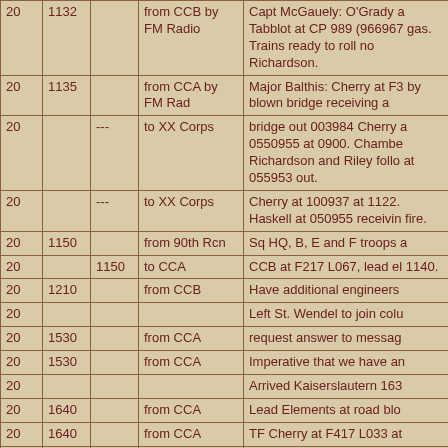|  |  |  |  |  |
| --- | --- | --- | --- | --- |
| 20 | 1132 |  | from CCB by FM Radio | Capt McGauely: O'Grady a Tabblot at CP 989 (966967 gas. Trains ready to roll no Richardson. |
| 20 | 1135 |  | from CCA by FM Rad | Major Balthis: Cherry at F3 by blown bridge receiving a |
| 20 |  | --- | to XX Corps | bridge out 003984 Cherry a 0550955 at 0900. Chambe Richardson and Riley follo at 055953 out. |
| 20 |  | --- | to XX Corps | Cherry at 100937 at 1122. Haskell at 050955 receivin fire. |
| 20 | 1150 |  | from 90th Rcn | Sq HQ, B, E and F troops a |
| 20 |  | 1150 | to CCA | CCB at F217 L067, lead el 1140. |
| 20 | 1210 |  | from CCB | Have additional engineers |
| 20 |  |  |  | Left St. Wendel to join colu |
| 20 | 1530 |  | from CCA | request answer to messag |
| 20 | 1530 |  | from CCA | Imperative that we have an |
| 20 |  |  |  | Arrived Kaiserslautern 163 |
| 20 | 1640 |  | from CCA | Lead Elements at road blo |
| 20 | 1640 |  | from CCA | TF Cherry at F417 L033 at |
| 20 | 1645 |  | from XX Corps | AAA Autor Weapons Batta to protect any bridge that m River. The Armored Divisio AW protection using the e |